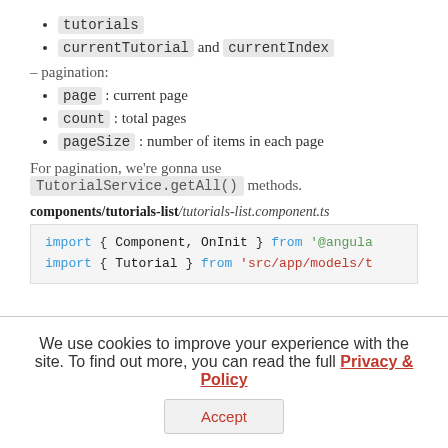tutorials
currentTutorial and currentIndex
– pagination:
page : current page
count : total pages
pageSize : number of items in each page
For pagination, we're gonna use TutorialService.getAll() methods.
components/tutorials-list/tutorials-list.component.ts
import { Component, OnInit } from '@angula
import { Tutorial } from 'src/app/models/t
We use cookies to improve your experience with the site. To find out more, you can read the full Privacy & Policy
Accept